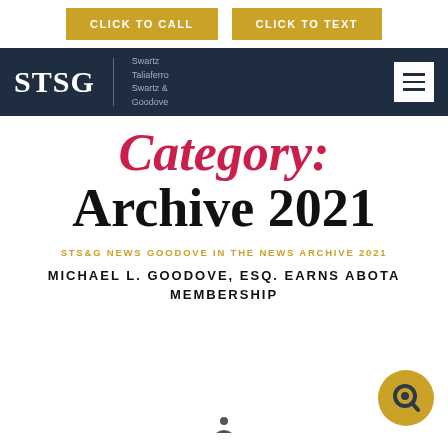CLICK TO CALL   CLICK TO TEXT
[Figure (logo): STSG law firm logo with navigation bar on dark navy background, Swartz Taliaferro Swartz & Goodove]
Category: Archive 2021
STS&G NEWS GOODOVE IN THE NEWS ARCHIVE 2021
MICHAEL L. GOODOVE, ESQ. EARNS ABOTA MEMBERSHIP